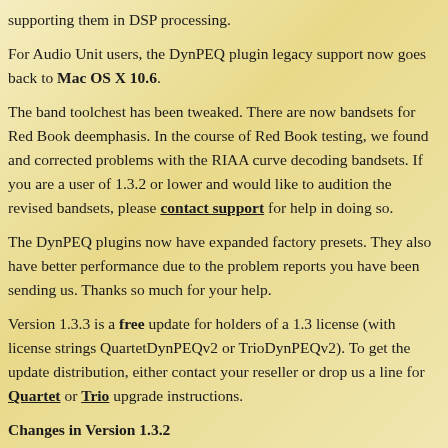supporting them in DSP processing.
For Audio Unit users, the DynPEQ plugin legacy support now goes back to Mac OS X 10.6.
The band toolchest has been tweaked. There are now bandsets for Red Book deemphasis. In the course of Red Book testing, we found and corrected problems with the RIAA curve decoding bandsets. If you are a user of 1.3.2 or lower and would like to audition the revised bandsets, please contact support for help in doing so.
The DynPEQ plugins now have expanded factory presets. They also have better performance due to the problem reports you have been sending us. Thanks so much for your help.
Version 1.3.3 is a free update for holders of a 1.3 license (with license strings QuartetDynPEQv2 or TrioDynPEQv2). To get the update distribution, either contact your reseller or drop us a line for Quartet or Trio upgrade instructions.
Changes in Version 1.3.2